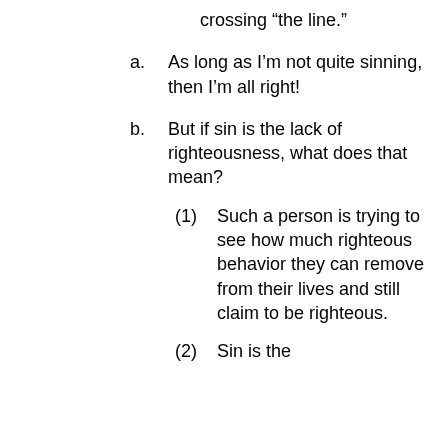crossing “the line.”
a.	As long as I’m not quite sinning, then I’m all right!
b.	But if sin is the lack of righteousness, what does that mean?
(1)	Such a person is trying to see how much righteous behavior they can remove from their lives and still claim to be righteous.
(2)	Sin is the